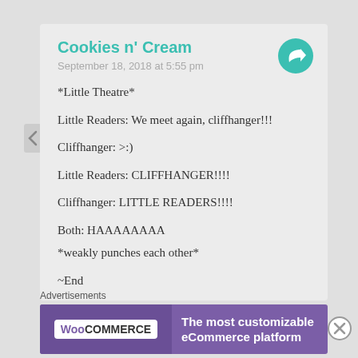Cookies n' Cream
September 18, 2018 at 5:55 pm
*Little Theatre*
Little Readers: We meet again, cliffhanger!!!
Cliffhanger: >:)
Little Readers: CLIFFHANGER!!!!
Cliffhanger: LITTLE READERS!!!!
Both: HAAAAAAAA
*weakly punches each other*
~End
Advertisements
[Figure (other): WooCommerce advertisement banner: 'The most customizable eCommerce platform']